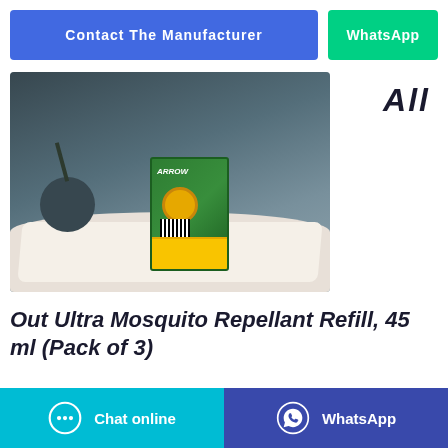Contact The Manufacturer
WhatsApp
[Figure (photo): Product photo of Out Ultra Mosquito Repellant Refill green box standing on a white cloth on a teal surface with a dark plant pot in the background against dark blue-grey curtains]
All
Out Ultra Mosquito Repellant Refill, 45 ml (Pack of 3)
Chat online
WhatsApp